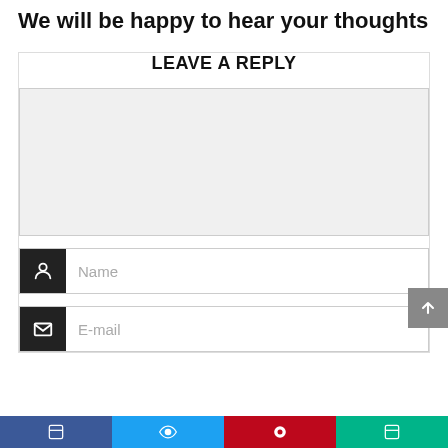We will be happy to hear your thoughts
LEAVE A REPLY
[Figure (screenshot): Web comment form with a large textarea for message input, a Name field with person icon on dark background, and an E-mail field with envelope icon on dark background. A back-to-top arrow button is on the right. A social sharing bar with four colored segments (blue, cyan, red, teal) is at the bottom.]